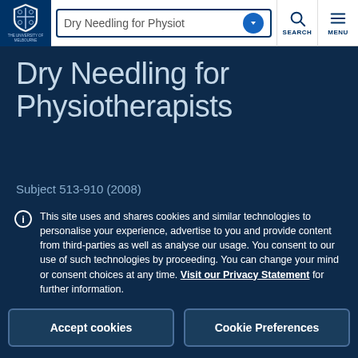Dry Needling for Physiot... | SEARCH | MENU
Dry Needling for Physiotherapists
Subject 513-910 (2008)
This site uses and shares cookies and similar technologies to personalise your experience, advertise to you and provide content from third-parties as well as analyse our usage. You consent to our use of such technologies by proceeding. You can change your mind or consent choices at any time. Visit our Privacy Statement for further information.
Accept cookies
Cookie Preferences